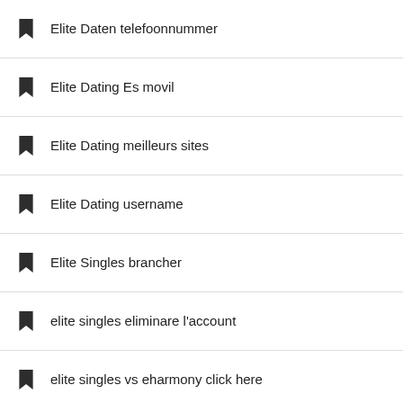Elite Daten telefoonnummer
Elite Dating Es movil
Elite Dating meilleurs sites
Elite Dating username
Elite Singles brancher
elite singles eliminare l'account
elite singles vs eharmony click here
elite singles vs eharmony read here